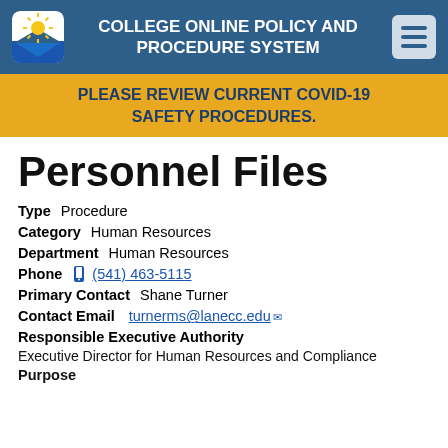COLLEGE ONLINE POLICY AND PROCEDURE SYSTEM
PLEASE REVIEW CURRENT COVID-19 SAFETY PROCEDURES.
Personnel Files
Type   Procedure
Category   Human Resources
Department   Human Resources
Phone   (541) 463-5115
Primary Contact   Shane Turner
Contact Email   turnerms@lanecc.edu
Responsible Executive Authority
Executive Director for Human Resources and Compliance
Purpose